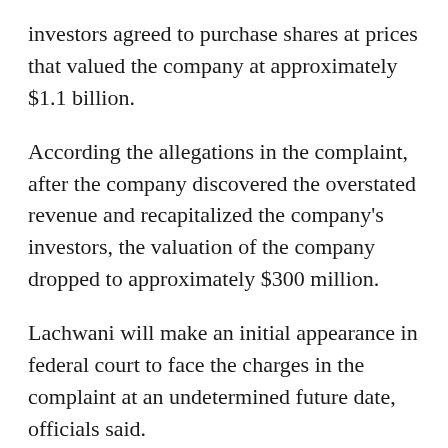investors agreed to purchase shares at prices that valued the company at approximately $1.1 billion.
According the allegations in the complaint, after the company discovered the overstated revenue and recapitalized the company's investors, the valuation of the company dropped to approximately $300 million.
Lachwani will make an initial appearance in federal court to face the charges in the complaint at an undetermined future date, officials said.
Lachwani is charged in the complaint with one count of wire fraud in violation and one count of securities fraud. If convicted of wire fraud, he faces a maximum